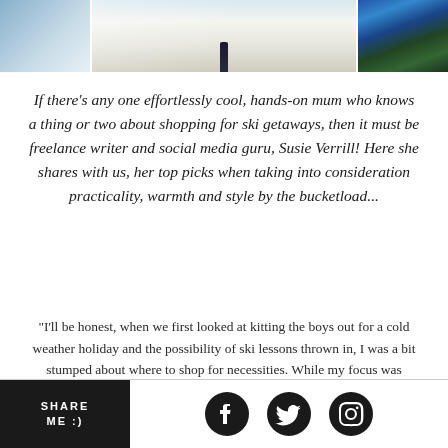[Figure (photo): Three-panel photo strip showing ski scene: left panel shows blue sky and snow, center panel shows person skiing on groomed snowy slope, right panel shows pine trees against blue sky]
If there's any one effortlessly cool, hands-on mum who knows a thing or two about shopping for ski getaways, then it must be freelance writer and social media guru, Susie Verrill! Here she shares with us, her top picks when taking into consideration practicality, warmth and style by the bucketload...
"I'll be honest, when we first looked at kitting the boys out for a cold weather holiday and the possibility of ski lessons thrown in, I was a bit stumped about where to shop for necessities. While my focus was mainly on practicality and warmth, I didn't want to buy anything
SHARE ME :)